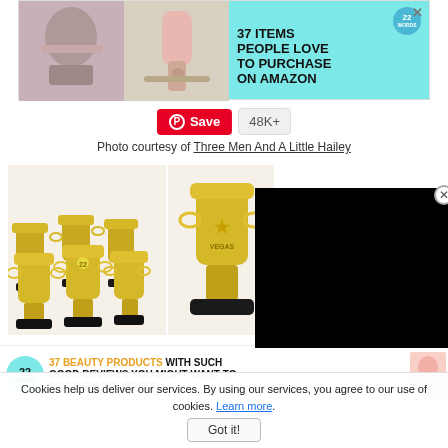[Figure (screenshot): Advertisement banner showing jewelry and a pink toothpaste dispenser, with text '37 ITEMS PEOPLE LOVE TO PURCHASE ON AMAZON' on a teal background, with a '22 WORDS' circular badge and close button X.]
[Figure (screenshot): Pinterest Save button (red) with '48K+' count badge]
Photo courtesy of Three Men And A Little Hailey
[Figure (photo): Multiple gold and black trophy cups arranged in a group]
[Figure (photo): Single large gold trophy cup on black base, partially covered by black video overlay]
[Figure (screenshot): Advertisement banner: '37 BEAUTY PRODUCTS WITH SUCH GOOD REVIEWS YOU MIGHT WANT TO TRY THEM YOURSELF' with 22 WORDS badge in teal circle, and pink product image on right]
Cookies help us deliver our services. By using our services, you agree to our use of cookies. Learn more.
Got it!